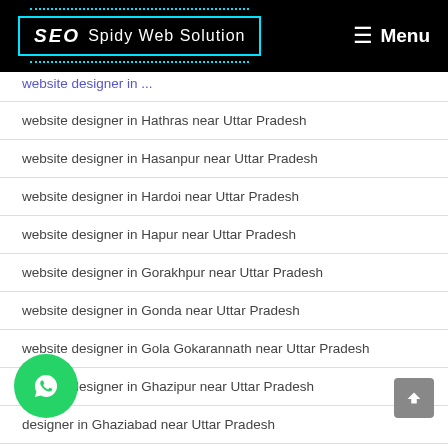SEO Spidy Web Solution | Menu
website designer in ... (partial, cut off at top)
website designer in Hathras near Uttar Pradesh
website designer in Hasanpur near Uttar Pradesh
website designer in Hardoi near Uttar Pradesh
website designer in Hapur near Uttar Pradesh
website designer in Gorakhpur near Uttar Pradesh
website designer in Gonda near Uttar Pradesh
website designer in Gola Gokarannath near Uttar Pradesh
website designer in Ghazipur near Uttar Pradesh
website designer in Ghaziabad near Uttar Pradesh
website designer in Gangoh near Uttar Pradesh